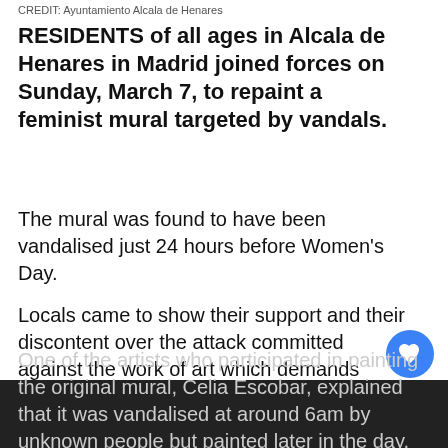CREDIT: Ayuntamiento Alcala de Henares
RESIDENTS of all ages in Alcala de Henares in Madrid joined forces on Sunday, March 7, to repaint a feminist mural targeted by vandals.
The mural was found to have been vandalised just 24 hours before Women's Day.
Locals came to show their support and their discontent over the attack committed against the work of art which demands equality for women.
One of the artists who participated in painting the original mural, Celia Escobar, explained that it was vandalised at around 6am by unknown people but painted later in the day, with the help of locals.